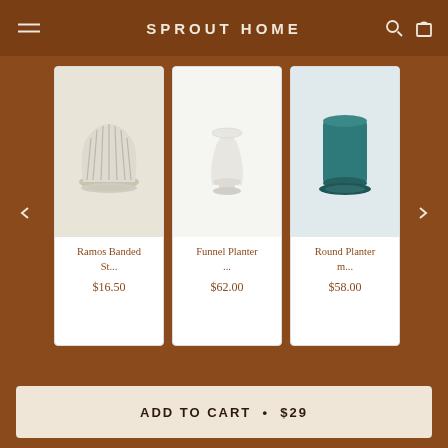SPROUT HOME
[Figure (photo): Ramos Banded St... product card with ribbed cream ceramic planter, $16.50]
[Figure (photo): Funnel Planter ... product card with white funnel-shaped ceramic planter, $62.00]
[Figure (photo): Round Planter m... product card with teal cylindrical ceramic planter, $58.00]
ADD TO CART • $29
Check Your Zip Code for Local Delivery